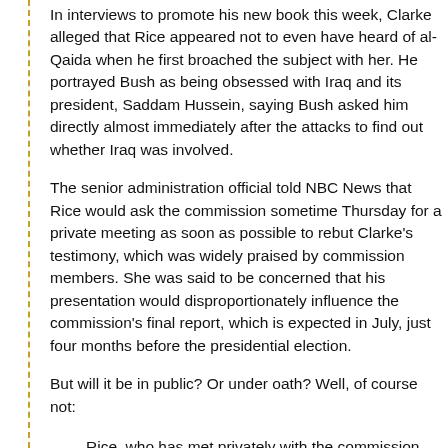In interviews to promote his new book this week, Clarke alleged that Rice appeared not to even have heard of al-Qaida when he first broached the subject with her. He portrayed Bush as being obsessed with Iraq and its president, Saddam Hussein, saying Bush asked him directly almost immediately after the attacks to find out whether Iraq was involved.
The senior administration official told NBC News that Rice would ask the commission sometime Thursday for a private meeting as soon as possible to rebut Clarke's testimony, which was widely praised by commission members. She was said to be concerned that his presentation would disproportionately influence the commission's final report, which is expected in July, just four months before the presidential election.
But will it be in public? Or under oath? Well, of course not:
Rice, who has met privately with the commission once before, may not get her wish, however, because the commission could insist that any new appearance, even if in private, be conducted under oath. A source familiar with the commission's plans...